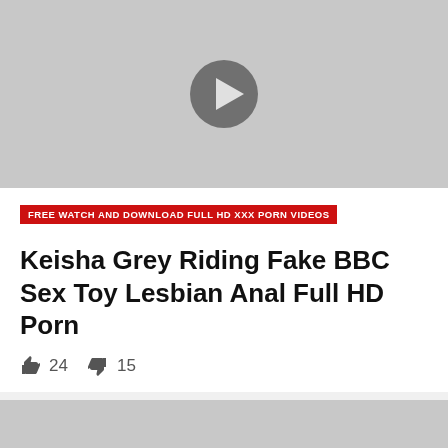[Figure (screenshot): Video thumbnail placeholder — light grey background with dark grey circular play button icon]
FREE WATCH AND DOWNLOAD FULL HD XXX PORN VIDEOS
Keisha Grey Riding Fake BBC Sex Toy Lesbian Anal Full HD Porn
👍 24  👎 15
[Figure (screenshot): Second video thumbnail placeholder — light grey background with dark grey circular play button icon (partially visible)]